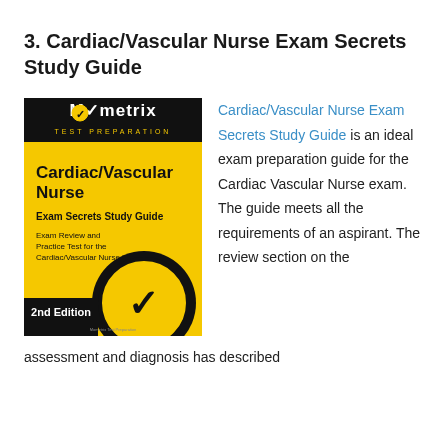3. Cardiac/Vascular Nurse Exam Secrets Study Guide
[Figure (illustration): Book cover of Cardiac/Vascular Nurse Exam Secrets Study Guide, 2nd Edition by Mometrix Test Preparation. Yellow and black cover with a checkmark graphic.]
Cardiac/Vascular Nurse Exam Secrets Study Guide is an ideal exam preparation guide for the Cardiac Vascular Nurse exam. The guide meets all the requirements of an aspirant. The review section on the
assessment and diagnosis has described